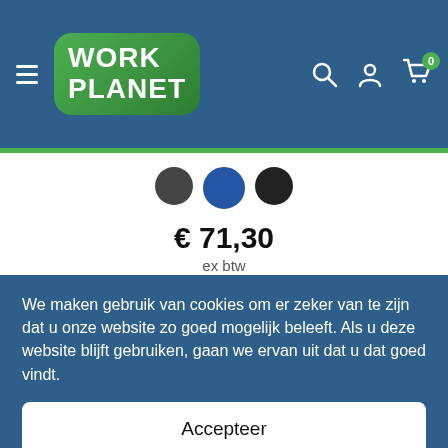[Figure (screenshot): WorkPlanet webshop header with hamburger menu, green rounded logo with WORK PLANET text, search icon, user icon, and cart icon with badge showing 0]
[Figure (illustration): Three color swatches: dark gray circle, blue circle, black circle]
€ 71,30
ex btw
Bekijk en bestel
We maken gebruik van cookies om er zeker van te zijn dat u onze website zo goed mogelijk beleeft. Als u deze website blijft gebruiken, gaan we ervan uit dat u dat goed vindt.
Accepteer
Instellingen